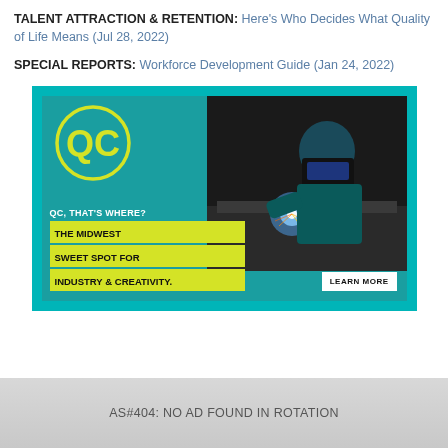TALENT ATTRACTION & RETENTION: Here's Who Decides What Quality of Life Means (Jul 28, 2022)
SPECIAL REPORTS: Workforce Development Guide (Jan 24, 2022)
[Figure (illustration): QC advertisement: teal-bordered ad showing a welder in action with text 'QC, THAT'S WHERE? THE MIDWEST SWEET SPOT FOR INDUSTRY & CREATIVITY.' with QC logo and LEARN MORE button]
AS#404: NO AD FOUND IN ROTATION